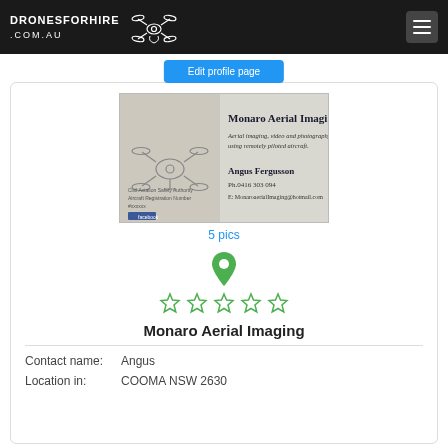DRONESFORHIRE .COM.AU
[Figure (photo): Business card for Monaro Aerial Imaging showing a drone image, company name, tagline 'Aerial imaging, video and photography using remotely piloted aircraft.', Civil Aviation Safety Authority Aircraft Registration Number, Angus Fergusson contact details Ph.0416 303 094, E: MonaroaerialImaging@hotmail.com, and a Facebook logo.]
5 pics
[Figure (infographic): Green map pin icon above 5 empty star rating icons]
Monaro Aerial Imaging
Contact name:  Angus
Location in:  COOMA NSW 2630